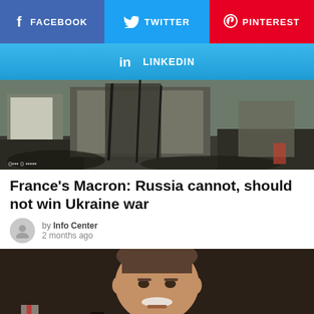[Figure (other): Social share buttons row: Facebook (blue-purple), Twitter (blue), Pinterest (red)]
[Figure (other): LinkedIn share button (light blue gradient)]
[Figure (photo): Photograph of destroyed/burned buildings and vehicles, war damage scene]
France’s Macron: Russia cannot, should not win Ukraine war
by Info Center
2 months ago
[Figure (photo): Portrait photo of a man with white mustache wearing dark jacket, seated, with flags in background]